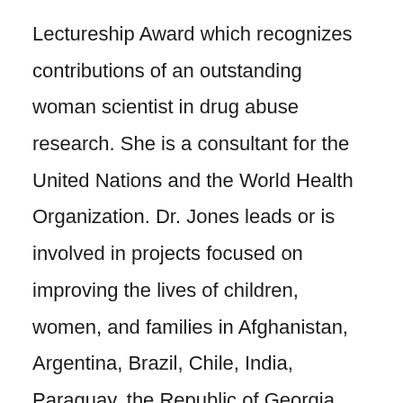Lectureship Award which recognizes contributions of an outstanding woman scientist in drug abuse research. She is a consultant for the United Nations and the World Health Organization. Dr. Jones leads or is involved in projects focused on improving the lives of children, women, and families in Afghanistan, Argentina, Brazil, Chile, India, Paraguay, the Republic of Georgia, South Africa, and the United States.
UNC Horizons is a substance use disorder treatment program for pregnant and/or parenting women and their children, including those whose lives have been touched by abuse and violence. It is a program of the Department of Obstetrics and Gynecology, School of Medicine, The University of North Carolina at Chapel